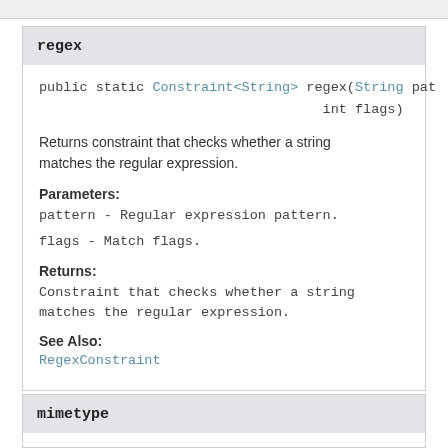regex
public static Constraint<String> regex(String pat
                                int flags)
Returns constraint that checks whether a string matches the regular expression.
Parameters:
pattern - Regular expression pattern.
flags - Match flags.
Returns:
Constraint that checks whether a string matches the regular expression.
See Also:
RegexConstraint
mimetype